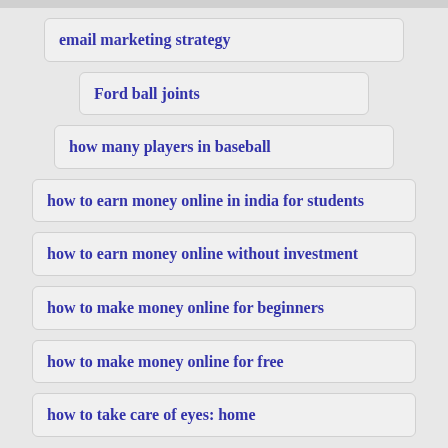email marketing strategy
Ford ball joints
how many players in baseball
how to earn money online in india for students
how to earn money online without investment
how to make money online for beginners
how to make money online for free
how to take care of eyes: home